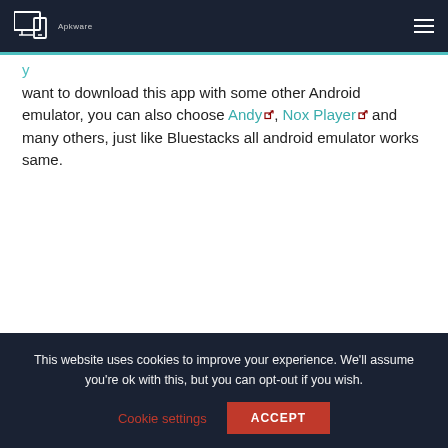Apkware
want to download this app with some other Android emulator, you can also choose Andy, Nox Player and many others, just like Bluestacks all android emulator works same.
This website uses cookies to improve your experience. We'll assume you're ok with this, but you can opt-out if you wish.
Cookie settings  ACCEPT